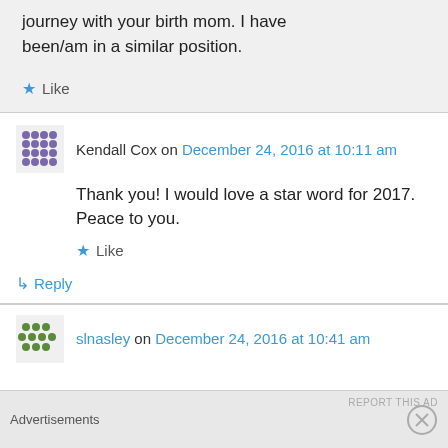journey with your birth mom. I have been/am in a similar position.
Like
Kendall Cox on December 24, 2016 at 10:11 am
Thank you! I would love a star word for 2017. Peace to you.
Like
Reply
slnasley on December 24, 2016 at 10:41 am
Advertisements